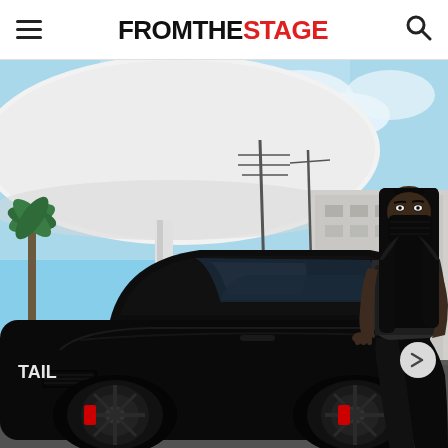FROMTHESTAGE
[Figure (photo): A woman wearing a black face mask, black sequined halter top, and black leather pants, leaning against a black Porsche sports car at a Mobil gas station. She has long straight black hair with bangs. The background shows a gas station canopy, power lines, palm trees, and a partly cloudy blue sky.]